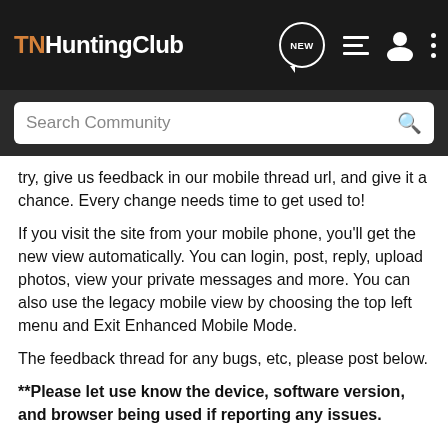TNHuntingClub
try, give us feedback in our mobile thread url, and give it a chance. Every change needs time to get used to!
If you visit the site from your mobile phone, you'll get the new view automatically. You can login, post, reply, upload photos, view your private messages and more. You can also use the legacy mobile view by choosing the top left menu and Exit Enhanced Mobile Mode.
The feedback thread for any bugs, etc, please post below.
**Please let use know the device, software version, and browser being used if reporting any issues.